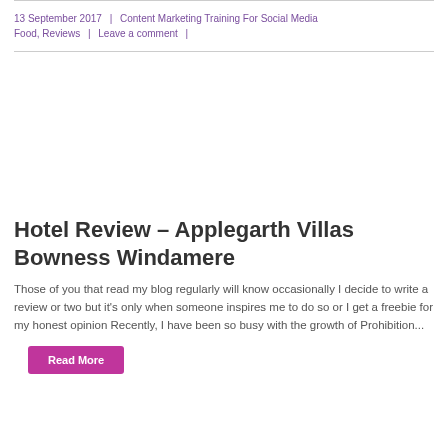13 September 2017 | Content Marketing Training For Social Media Food, Reviews | Leave a comment |
[Figure (photo): Blank/white image area placeholder for hotel review article image]
Hotel Review – Applegarth Villas Bowness Windamere
Those of you that read my blog regularly will know occasionally I decide to write a review or two but it's only when someone inspires me to do so or I get a freebie for my honest opinion Recently, I have been so busy with the growth of Prohibition...